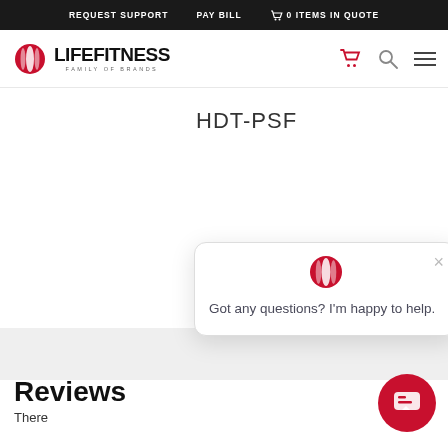REQUEST SUPPORT   PAY BILL   0 ITEMS IN QUOTE
[Figure (logo): Life Fitness Family of Brands logo with red oval icon]
HDT-PSF
[Figure (infographic): Chat popup with Life Fitness logo, close button, and text: Got any questions? I'm happy to help.]
Reviews
There